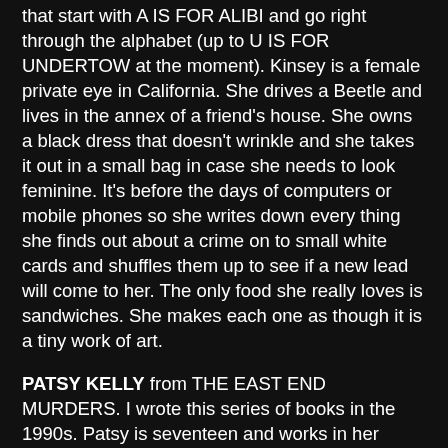that start with A IS FOR ALIBI and go right through the alphabet (up to U IS FOR UNDERTOW at the moment). Kinsey is a female private eye in California. She drives a Beetle and lives in the annex of a friend's house. She owns a black dress that doesn't wrinkle and she takes it out in a small bag in case she needs to look feminine. It's before the days of computers or mobile phones so she writes down every thing she finds out about a crime on to small white cards and shuffles them up to see if a new lead will come to her. The only food she really loves is sandwiches. She makes each one as though it is a tiny work of art.
PATSY KELLY from THE EAST END MURDERS. I wrote this series of books in the 1990s. Patsy is seventeen and works in her uncle's detective agency. He tells her to answer the phones and make the tea but she always gets involved in solving the crimes. She loves hats and has a collection of them. Her side kick is Billy, a very old friend who she falls in and out of love with. You might find these books in the dusty corners of your local library (if the government doesn't shut them all down!). I loved Patsy. She always worked out who the murderer was.